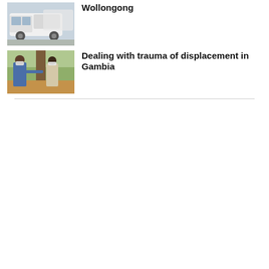[Figure (photo): A white van photographed from the side, partial view, in an outdoor setting.]
Wollongong
[Figure (photo): Two people wearing face masks outdoors near a large tree, one person in a blue vest gesturing.]
Dealing with trauma of displacement in Gambia